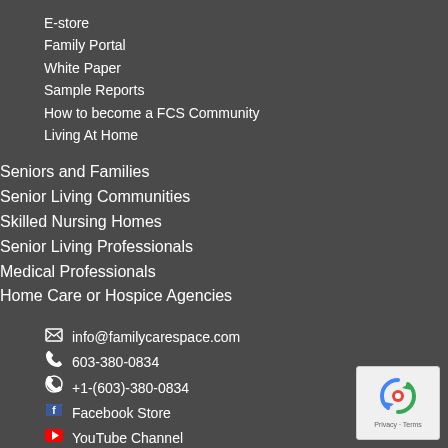E-store
Family Portal
White Paper
Sample Reports
How to become a FCS Community
Living At Home
Seniors and Families
Senior Living Communities
Skilled Nursing Homes
Senior Living Professionals
Medical Professionals
Home Care or Hospice Agencies
info@familycarespace.com
603-380-0834
+1-(603)-380-0834
Facebook Store
YouTube Channel
[Figure (logo): Google reCAPTCHA logo with Privacy and Terms text]